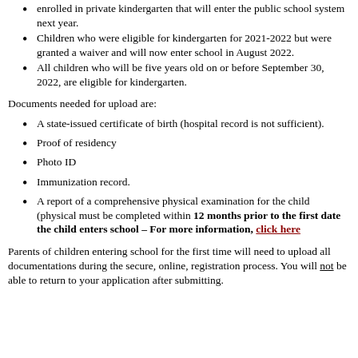enrolled in private kindergarten that will enter the public school system next year.
Children who were eligible for kindergarten for 2021-2022 but were granted a waiver and will now enter school in August 2022.
All children who will be five years old on or before September 30, 2022, are eligible for kindergarten.
Documents needed for upload are:
A state-issued certificate of birth (hospital record is not sufficient).
Proof of residency
Photo ID
Immunization record.
A report of a comprehensive physical examination for the child (physical must be completed within 12 months prior to the first date the child enters school – For more information, click here
Parents of children entering school for the first time will need to upload all documentations during the secure, online, registration process. You will not be able to return to your application after submitting.